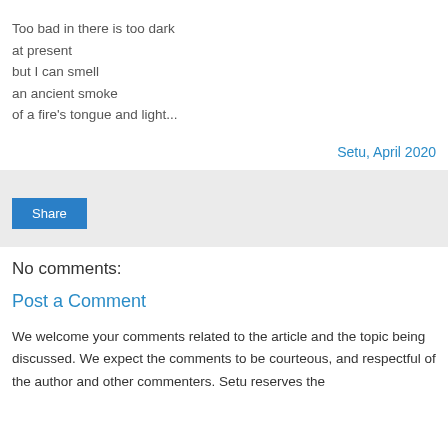Too bad in there is too dark
at present
but I can smell
an ancient smoke
of a fire's tongue and light...
Setu, April 2020
[Figure (other): Share button widget area with light gray background]
No comments:
Post a Comment
We welcome your comments related to the article and the topic being discussed. We expect the comments to be courteous, and respectful of the author and other commenters. Setu reserves the